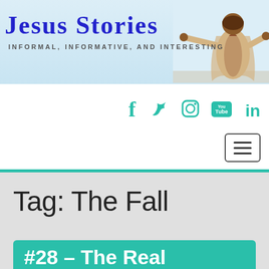[Figure (illustration): Website header banner with light blue gradient background, Jesus figure standing with arms outstretched on the right side]
Jesus Stories
INFORMAL, INFORMATIVE, AND INTERESTING
[Figure (infographic): Social media icons: Facebook (f), Twitter (bird), Instagram (circle), YouTube (Tube box), LinkedIn (in) — all in teal color]
[Figure (infographic): Hamburger menu button with three horizontal lines inside a rounded rectangle border]
Tag: The Fall
#28 – The Real